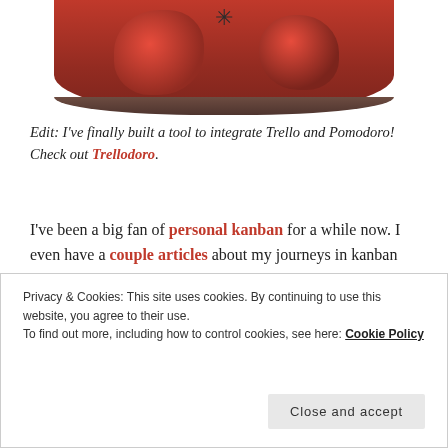[Figure (photo): Cropped bottom portion of a can of tomatoes with red tomatoes and dark star/flower tops visible, and a dark metal rim at the bottom.]
Edit: I've finally built a tool to integrate Trello and Pomodoro! Check out Trellodoro.
I've been a big fan of personal kanban for a while now. I even have a couple articles about my journeys in kanban land. Kanban gives me a great way of seeing what I'm doing, what is waiting for feedback from others, and what I need to do. However, lately I've been getting rather scattered in actually accomplishing my
Privacy & Cookies: This site uses cookies. By continuing to use this website, you agree to their use.
To find out more, including how to control cookies, see here: Cookie Policy
Close and accept